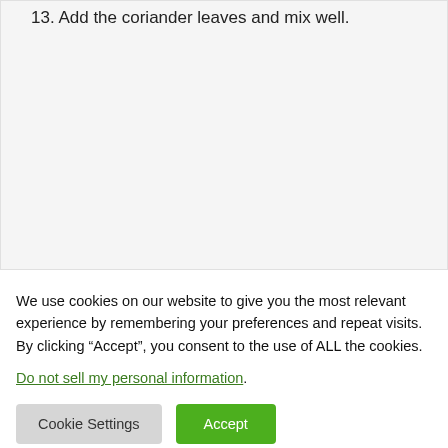13. Add the coriander leaves and mix well.
We use cookies on our website to give you the most relevant experience by remembering your preferences and repeat visits. By clicking “Accept”, you consent to the use of ALL the cookies.
Do not sell my personal information.